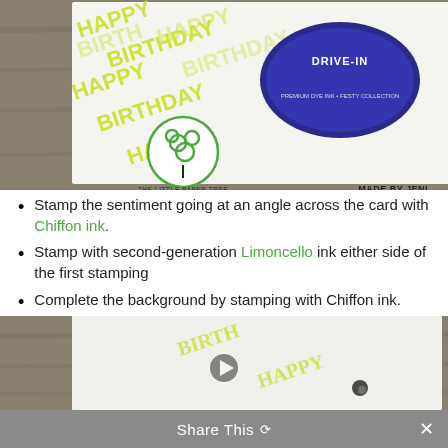[Figure (photo): Photo of birthday card with 'Happy Birthday' stamped in yellow/lime at an angle, alongside a blue oval stamp pad labeled 'Drive-In'. The Little Paper Tree logo and website are at the bottom left, 'Made By Jeni @jenimachon' at the bottom right.]
Stamp the sentiment going at an angle across the card with Chiffon ink.
Stamp with second-generation Limoncello ink either side of the first stamping
Complete the background by stamping with Chiffon ink.
[Figure (photo): Partial bottom photo showing a card being stamped on a wooden background, with yellow-green lettering visible.]
Share This